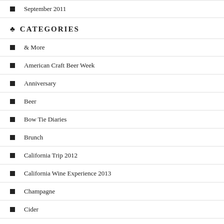September 2011
CATEGORIES
& More
American Craft Beer Week
Anniversary
Beer
Bow Tie Diaries
Brunch
California Trip 2012
California Wine Experience 2013
Champagne
Cider
Class
Cocktails